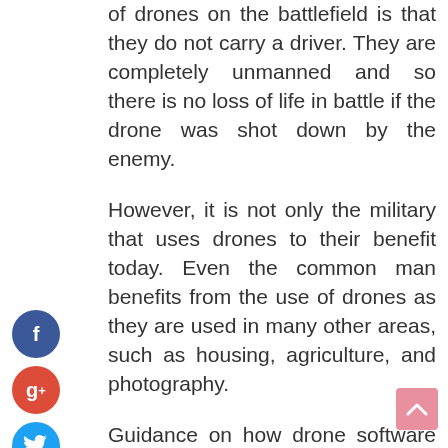of drones on the battlefield is that they do not carry a driver. They are completely unmanned and so there is no loss of life in battle if the drone was shot down by the enemy.
However, it is not only the military that uses drones to their benefit today. Even the common man benefits from the use of drones as they are used in many other areas, such as housing, agriculture, and photography.
Guidance on how drone software can process data:
The best drones software evolves with each passing day. The software was designed with